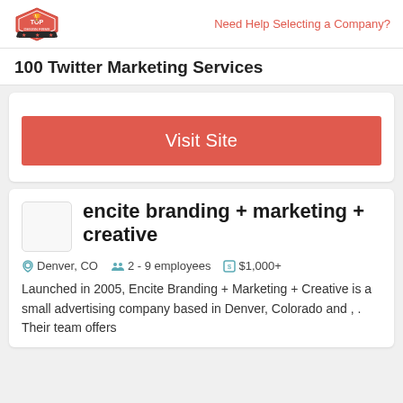Top Design Firms | Need Help Selecting a Company?
100 Twitter Marketing Services
[Figure (other): Red Visit Site button]
encite branding + marketing + creative
Denver, CO   2 - 9 employees   $1,000+
Launched in 2005, Encite Branding + Marketing + Creative is a small advertising company based in Denver, Colorado and , . Their team offers